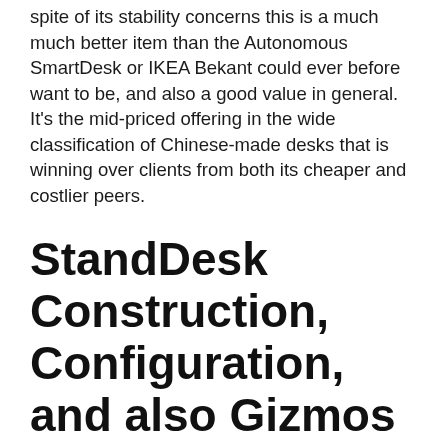spite of its stability concerns this is a much much better item than the Autonomous SmartDesk or IKEA Bekant could ever before want to be, and also a good value in general. It's the mid-priced offering in the wide classification of Chinese-made desks that is winning over clients from both its cheaper and costlier peers.
StandDesk Construction, Configuration, and also Gizmos
Constructing the desk is pretty easy if you comply with the thorough instructions. All of